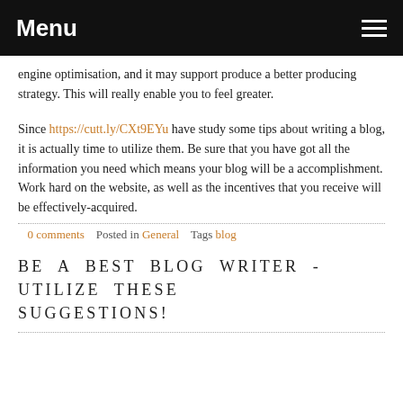Menu
engine optimisation, and it may support produce a better producing strategy. This will really enable you to feel greater.
Since https://cutt.ly/CXt9EYu have study some tips about writing a blog, it is actually time to utilize them. Be sure that you have got all the information you need which means your blog will be a accomplishment. Work hard on the website, as well as the incentives that you receive will be effectively-acquired.
0 comments   Posted in General   Tags blog
BE A BEST BLOG WRITER - UTILIZE THESE SUGGESTIONS!